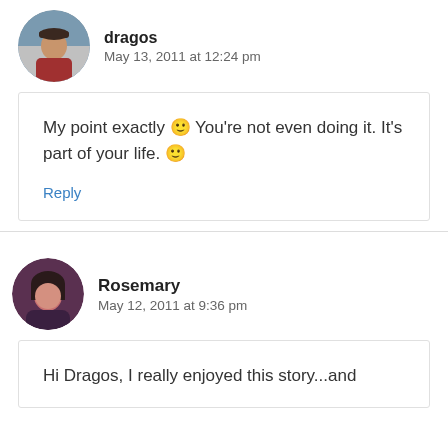[Figure (photo): Round avatar photo of user dragos, a person wearing a cap and red jacket outdoors]
dragos
May 13, 2011 at 12:24 pm
My point exactly 🙂 You're not even doing it. It's part of your life. 🙂
Reply
[Figure (photo): Round avatar photo of user Rosemary, a woman with dark hair]
Rosemary
May 12, 2011 at 9:36 pm
Hi Dragos, I really enjoyed this story...and